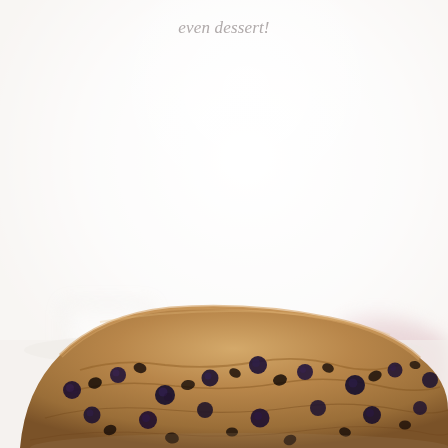even dessert!
[Figure (photo): Close-up photo of stacked blueberry chocolate chip scones or quick bread slices on a white surface, with a blurred glass of milk and a pink cloth napkin in the background. The baked goods are golden-brown with visible blueberries and chocolate chips throughout.]